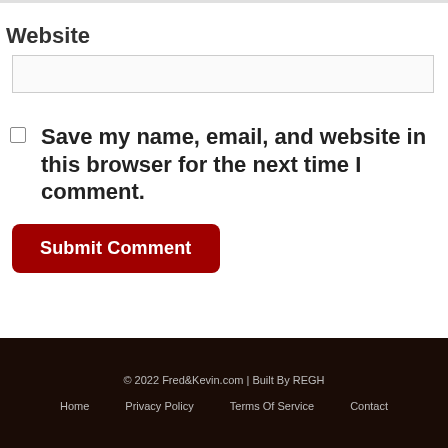Website
Save my name, email, and website in this browser for the next time I comment.
Submit Comment
© 2022 Fred&Kevin.com | Built By REGH
Home   Privacy Policy   Terms Of Service   Contact